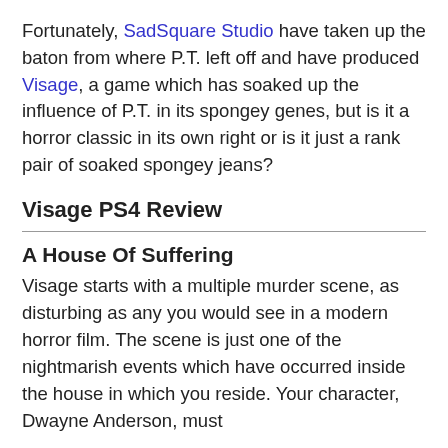Fortunately, SadSquare Studio have taken up the baton from where P.T. left off and have produced Visage, a game which has soaked up the influence of P.T. in its spongey genes, but is it a horror classic in its own right or is it just a rank pair of soaked spongey jeans?
Visage PS4 Review
A House Of Suffering
Visage starts with a multiple murder scene, as disturbing as any you would see in a modern horror film. The scene is just one of the nightmarish events which have occurred inside the house in which you reside. Your character, Dwayne Anderson, must